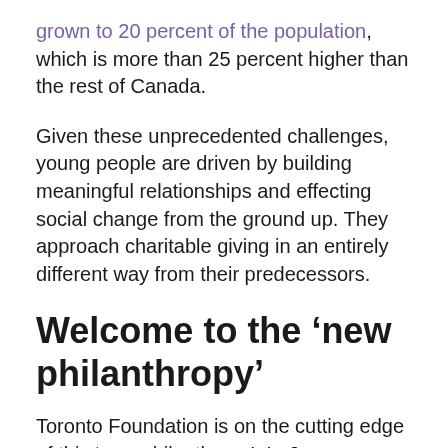grown to 20 percent of the population, which is more than 25 percent higher than the rest of Canada.
Given these unprecedented challenges, young people are driven by building meaningful relationships and effecting social change from the ground up. They approach charitable giving in an entirely different way from their predecessors.
Welcome to the 'new philanthropy'
Toronto Foundation is on the cutting edge of this 'new philanthropy'. In January 2019, they